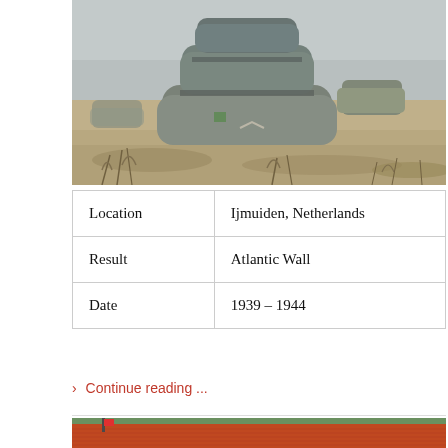[Figure (photo): Concrete WWII bunker structures in sandy dunes landscape, Ijmuiden, Netherlands. Grey concrete blocks stacked on each other with dry grass in foreground and grey sky background.]
| Location | Ijmuiden, Netherlands |
| Result | Atlantic Wall |
| Date | 1939 – 1944 |
> Continue reading ...
ARNHEM WAR MUSEUM
[Figure (photo): Partial view of a building with orange/red roof and trees, Arnhem War Museum.]